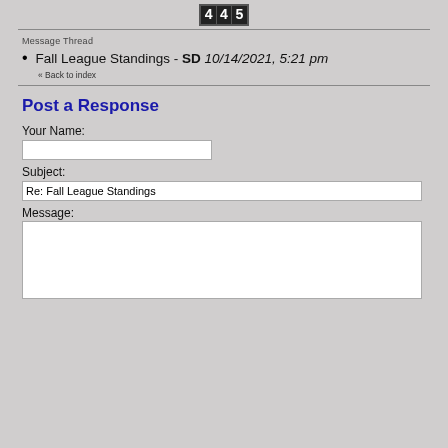445
Message Thread
Fall League Standings - SD 10/14/2021, 5:21 pm
« Back to index
Post a Response
Your Name:
Subject:
Re: Fall League Standings
Message: